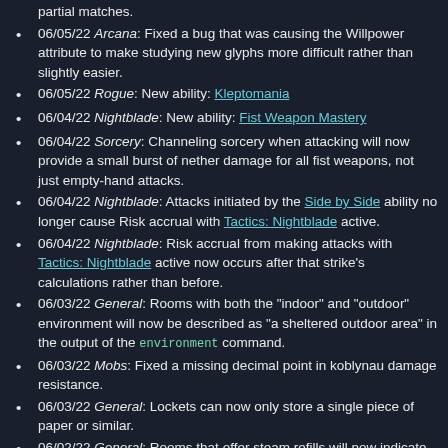partial matches.
06/05/22 Arcana: Fixed a bug that was causing the Willpower attribute to make studying new glyphs more difficult rather than slightly easier.
06/05/22 Rogue: New ability: Kleptomania
06/04/22 Nightblade: New ability: Fist Weapon Mastery
06/04/22 Sorcery: Channeling sorcery when attacking will now provide a small burst of nether damage for all fist weapons, not just empty-hand attacks.
06/04/22 Nightblade: Attacks initiated by the Side by Side ability no longer cause Risk accrual with Tactics: Nightblade active.
06/04/22 Nightblade: Risk accrual from making attacks with Tactics: Nightblade active now occurs after that strike's calculations rather than before.
06/03/22 General: Rooms with both the "indoor" and "outdoor" environment will now be described as "a sheltered outdoor area" in the output of the environment command.
06/03/22 Mobs: Fixed a missing decimal point in koblynau damage resistance.
06/03/22 General: Lockets can now only store a single piece of paper or similar.
06/02/22 General: Rooms that offer steam refills will now indicate as much next to the room name.
06/02/22 General: Items with pressure canisters that can be filled with the fill command at steam pressure sources will